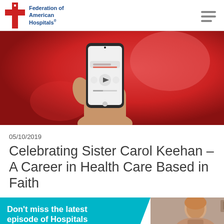[Figure (logo): Federation of American Hospitals logo - red cross shape with blue text]
[Figure (photo): Hand holding a smartphone displaying an audio/podcast episode interface against a red background]
05/10/2019
Celebrating Sister Carol Keehan – A Career in Health Care Based in Faith
[Figure (infographic): Teal banner with text 'Don’t miss the latest episode of Hospitals' and partial photo of a person]